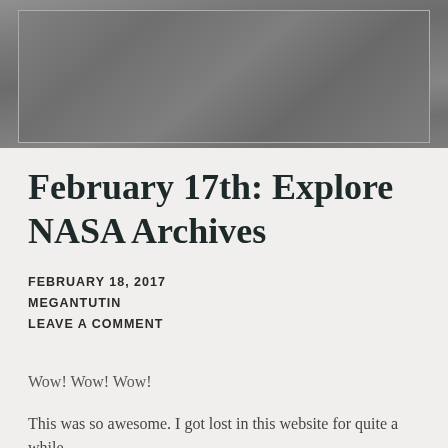[Figure (photo): Grayscale photo of a lunar or planetary surface texture, with a thin white rectangular border inset from the edges.]
February 17th: Explore NASA Archives
FEBRUARY 18, 2017
MEGANTUTIN
LEAVE A COMMENT
Wow! Wow! Wow!
This was so awesome. I got lost in this website for quite a while.